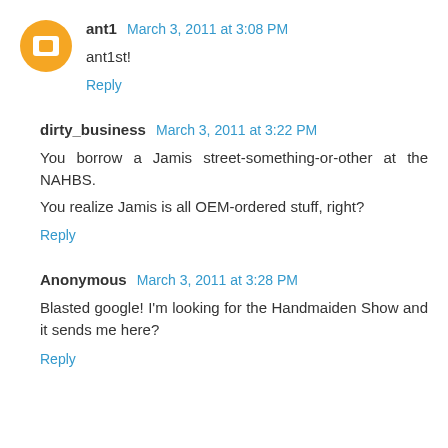ant1 March 3, 2011 at 3:08 PM
ant1st!
Reply
dirty_business March 3, 2011 at 3:22 PM
You borrow a Jamis street-something-or-other at the NAHBS.
You realize Jamis is all OEM-ordered stuff, right?
Reply
Anonymous March 3, 2011 at 3:28 PM
Blasted google! I'm looking for the Handmaiden Show and it sends me here?
Reply